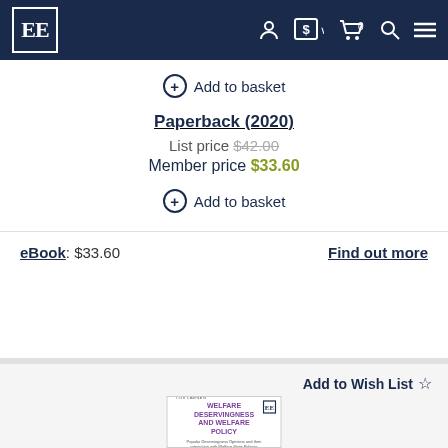EE [logo] navigation bar with account, currency, basket (0), search, and menu icons
⊕ Add to basket
Paperback (2020)
List price $42.00
Member price $33.60
⊕ Add to basket
eBook: $33.60
Find out more
Add to Wish List ☆
[Figure (illustration): Book cover for 'Welfare Deservingness and Welfare Policy' by Tijs Laenen, showing a purple title on white background with Edward Elgar publisher logo]